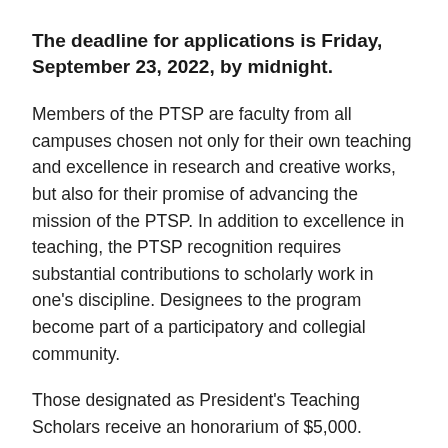The deadline for applications is Friday, September 23, 2022, by midnight.
Members of the PTSP are faculty from all campuses chosen not only for their own teaching and excellence in research and creative works, but also for their promise of advancing the mission of the PTSP. In addition to excellence in teaching, the PTSP recognition requires substantial contributions to scholarly work in one's discipline. Designees to the program become part of a participatory and collegial community.
Those designated as President's Teaching Scholars receive an honorarium of $5,000.
In addition, they will be members of the rotating group of